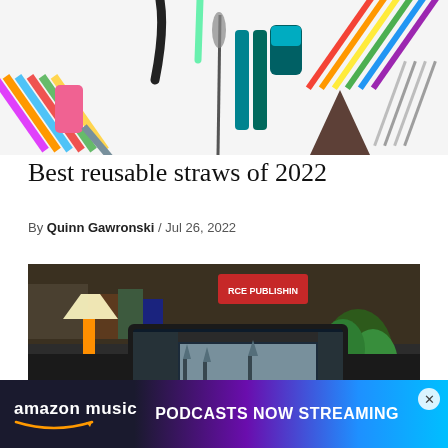[Figure (photo): Collage of various reusable straws: colorful silicone straws, metal stainless steel straws, a cleaning brush, teal collapsible straw set with case, multicolored acrylic straws on white background]
Best reusable straws of 2022
By Quinn Gawronski / Jul 26, 2022
[Figure (photo): Photo of a laptop/tablet on a desk showing a photo editing application with a winter landscape image, surrounded by a lamp, bookshelf, and plant]
[Figure (other): Amazon Music advertisement banner: 'amazon music PODCASTS NOW STREAMING' with gradient purple-blue background]